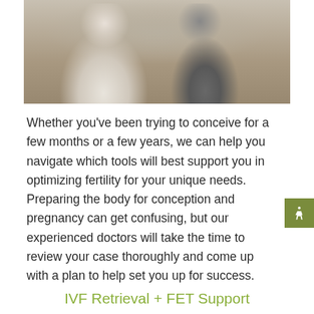[Figure (photo): Two women in a consultation setting, one in a white sweater gesturing while speaking, the other in gray holding a notepad, seated across from each other]
Whether you've been trying to conceive for a few months or a few years, we can help you navigate which tools will best support you in optimizing fertility for your unique needs. Preparing the body for conception and pregnancy can get confusing, but our experienced doctors will take the time to review your case thoroughly and come up with a plan to help set you up for success.
IVF Retrieval + FET Support